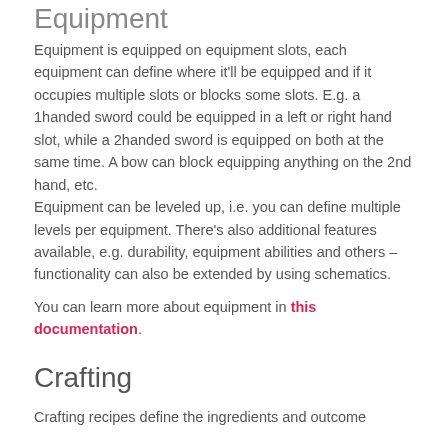Equipment
Equipment is equipped on equipment slots, each equipment can define where it’ll be equipped and if it occupies multiple slots or blocks some slots. E.g. a 1handed sword could be equipped in a left or right hand slot, while a 2handed sword is equipped on both at the same time. A bow can block equipping anything on the 2nd hand, etc.
Equipment can be leveled up, i.e. you can define multiple levels per equipment. There’s also additional features available, e.g. durability, equipment abilities and others – functionality can also be extended by using schematics.
You can learn more about equipment in this documentation.
Crafting
Crafting recipes define the ingredients and outcome